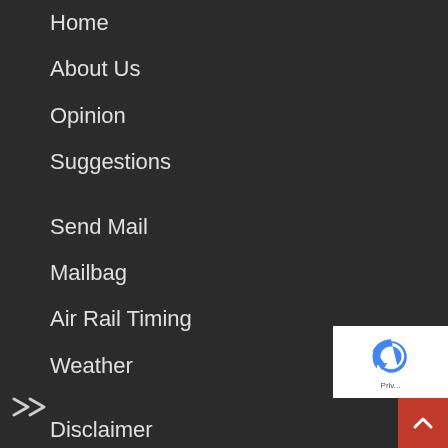Home
About Us
Opinion
Suggestions
Send Mail
Mailbag
Air Rail Timing
Weather
Disclaimer
Terms of Use
Privacy Policy
Pay Online
Refunds Policy
Letters
[Figure (logo): Google reCAPTCHA badge with blue recycling arrow icon and 'Priv...' text]
[Figure (other): Red scroll-to-top button with white chevron arrow]
[Figure (other): Forward double-arrow icon in bottom-left area]